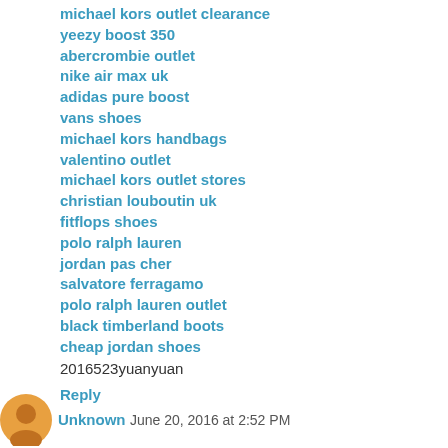michael kors outlet clearance
yeezy boost 350
abercrombie outlet
nike air max uk
adidas pure boost
vans shoes
michael kors handbags
valentino outlet
michael kors outlet stores
christian louboutin uk
fitflops shoes
polo ralph lauren
jordan pas cher
salvatore ferragamo
polo ralph lauren outlet
black timberland boots
cheap jordan shoes
2016523yuanyuan
Reply
Unknown   June 20, 2016 at 2:52 PM